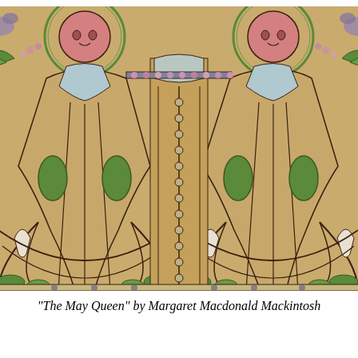[Figure (illustration): A cropped view of 'The May Queen' by Margaret Macdonald Mackintosh — an Art Nouveau decorative panel featuring two stylized female figures with elongated forms on a golden/tan background, adorned with green leaf motifs, floral details in pink and purple, and sinuous curving lines. The figures wear flowing robes with geometric and organic ornamentation.]
"The May Queen" by Margaret Macdonald Mackintosh